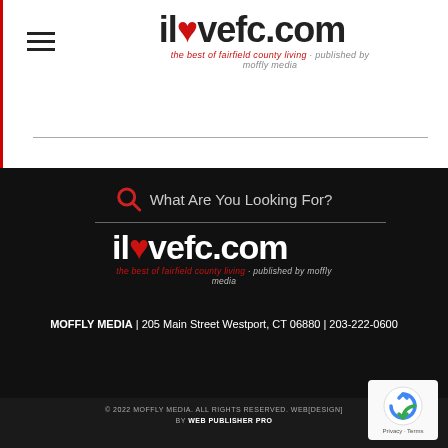[Figure (logo): ilovefc.com logo - hamburger menu icon on left, main logo in center with red heart replacing letter o, tagline 'the best of fairfield county living · published by moffly media']
[Figure (logo): ilovefc.com logo in white on black background with red heart, tagline below in red and white]
What Are You Looking For?
MOFFLY MEDIA | 205 Main Street Westport, CT 06880 | 203-222-0600
© 2022 MOFFLY MEDIA. ALL RIGHTS RESERVED. WEB [DESIGN] BY WEB PUBLISHER PRO